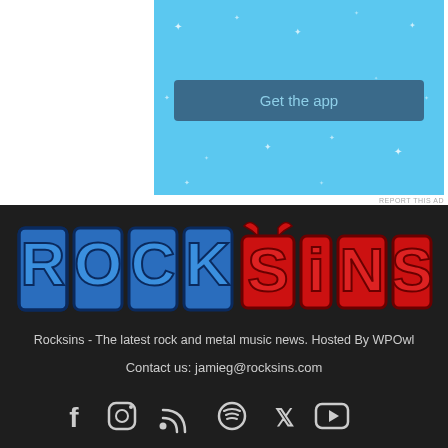[Figure (screenshot): Advertisement banner with light blue background and 'Get the app' button]
REPORT THIS AD
[Figure (logo): Rock Sins logo - ROCK in blue block letters and SINS in red block letters with devil horns]
Rocksins - The latest rock and metal music news. Hosted By WPOwl
Contact us: jamieg@rocksins.com
[Figure (infographic): Social media icons: Facebook, Instagram, RSS feed, Spotify, Twitter/X, YouTube]